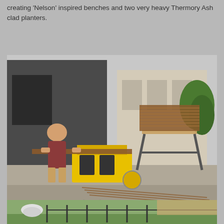creating 'Nelson' inspired benches and two very heavy Thermory Ash clad planters.
[Figure (photo): Outdoor scene showing a person working at a power table saw on a sidewalk, cutting wood planks. Stacks of Thermory Ash wooden slats are visible on sawhorses in the background. A building with classical architecture is visible behind.]
[Figure (photo): Partial view of another outdoor scene, bottom of page, showing people near a fence with green trees in background.]